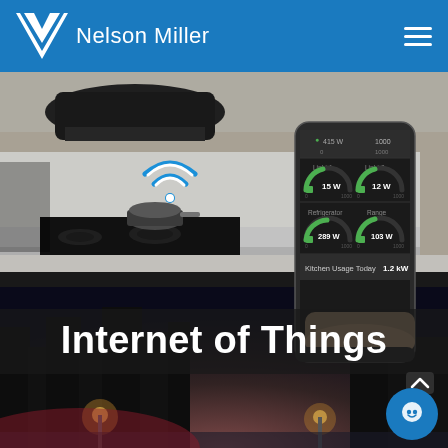Nelson Miller
[Figure (screenshot): Website screenshot showing Nelson Miller company page with Internet of Things section. Top blue header with Nelson Miller logo and hamburger menu. Main area shows a kitchen background with a hand holding a smartphone displaying IoT energy monitoring app (Kitchen Usage Today 1.2 kW, gauges for Light 1: 15W, Light 2: 12W, Refrigerator: 289W, Range: 103W). WiFi symbol overlay on kitchen. Large text overlay reads 'Internet of Things'. Bottom section shows a dark city street at night. Chat button and chevron-up button visible.]
Internet of Things